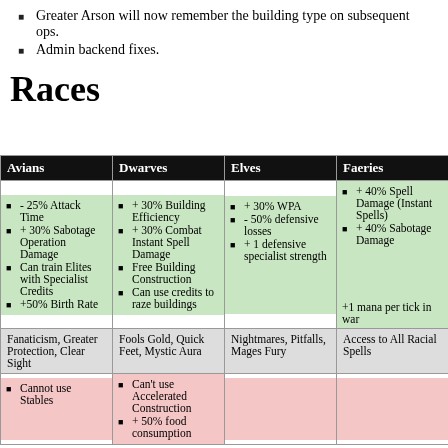Greater Arson will now remember the building type on subsequent ops.
Admin backend fixes.
Races
| Avians | Dwarves | Elves | Faeries |
| --- | --- | --- | --- |
| - 25% Attack Time
+ 30% Sabotage Operation Damage
Can train Elites with Specialist Credits
+50% Birth Rate | + 30% Building Efficiency
+ 30% Combat Instant Spell Damage
Free Building Construction
Can use credits to raze buildings | + 30% WPA
- 50% defensive losses
+ 1 defensive specialist strength | + 40% Spell Damage (Instant Spells)
+ 40% Sabotage Damage
+1 mana per tick in war |
| Fanaticism, Greater Protection, Clear Sight | Fools Gold, Quick Feet, Mystic Aura | Nightmares, Pitfalls, Mages Fury | Access to All Racial Spells |
| Cannot use Stables | Can't use Accelerated Construction
+ 50% food consumption |  |  |